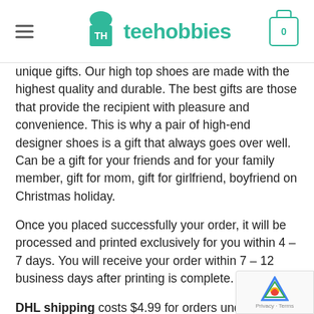teehobbies
unique gifts. Our high top shoes are made with the highest quality and durable. The best gifts are those that provide the recipient with pleasure and convenience. This is why a pair of high-end designer shoes is a gift that always goes over well. Can be a gift for your friends and for your family member, gift for mom, gift for girlfriend, boyfriend on Christmas holiday.
Once you placed successfully your order, it will be processed and printed exclusively for you within 4 – 7 days. You will receive your order within 7 – 12 business days after printing is complete.
DHL shipping costs $4.99 for orders under $39.99.
Processing time: 4-7 business days.